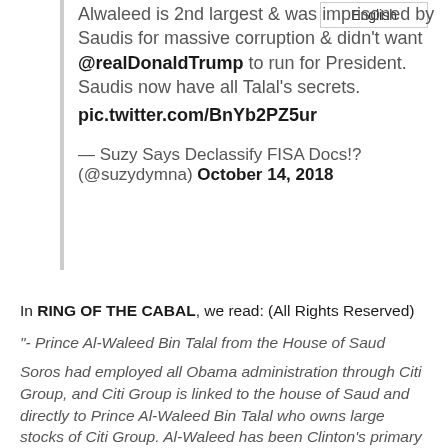Alwaleed is 2nd largest & was imprisoned by Saudis for massive corruption & didn't want @realDonaldTrump to run for President. Saudis now have all Talal's secrets. pic.twitter.com/BnYb2PZ5ur
— Suzy Says Declassify FISA Docs!? (@suzydymna) October 14, 2018
In RING OF THE CABAL, we read: (All Rights Reserved)
"- Prince Al-Waleed Bin Talal from the House of Saud
Soros had employed all Obama administration through Citi Group, and Citi Group is linked to the house of Saud and directly to Prince Al-Waleed Bin Talal who owns large stocks of Citi Group.  Al-Waleed has been Clinton's primary financial & political sponsor for decades, but now her ropes have been cut off. Here again, Soros is the